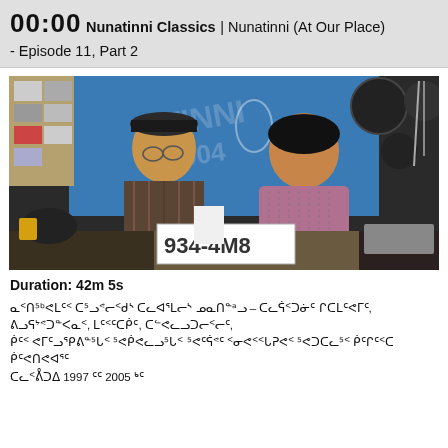00:00 Nunatinni Classics | Nunatinni (At Our Place) - Episode 11, Part 2
[Figure (photo): Two people sitting at a table in a TV studio with a blue background. An older man wearing a flat cap and plaid shirt sits on the left. A woman in a pink/mauve sweater sits on the right. A sign reading '934-4M8' is visible on the table in front of them.]
Duration: 42m 5s
ᓇᑉᑎ⁵ᵇᕙᒪᑦᑉ ᑕ⁵ᓗᕝᓕᑉᑯᔅ ᑕᓚᐊᕐᒪᓕᔅ ᓄᓇᑎᓐᵃᓗ – ᑕᓚᕌᑉᑐᓃᑦ ᒋᑕᒪᑦᕙᒥᑦ, ᕕᓗᕋᔾᕝᑐᓐᐸᓇᑉ, ᒪᑦᑉᑦᑕᑮᑦ, ᑕᓪᕙᓚᓗᑐᓕᑉᓕᑦ, ᑮᑦᑉ ᕙᒥᑦᓗᕿᕕᓐ⁵ᒐᑉ ⁵ᕙᑮᕙᓚᓗ⁵ᒐᑉᓇᑉᑉ ⁵ᕙᑦᕌᕝᑦ ᑉᓂᕙᑉᑉᒐᕈᕙᑉ ⁵ᕙᑐᑕᓚ⁵ᑉ ᑮᑦᒋᑦᑉᑕ ᑮᑦᕙᑎᕙᐊᕐᑦ ᑕᓚᑉᕔᑐᐃ 1997 ᑦᑦ 2005 ᒃᑦ